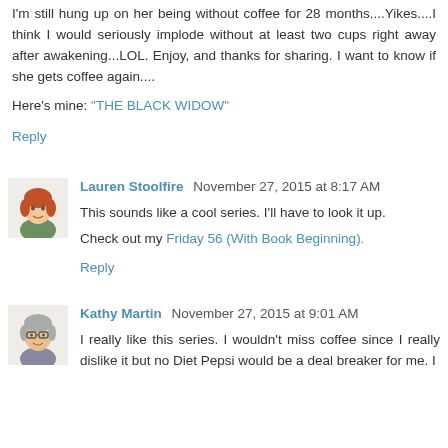I'm still hung up on her being without coffee for 28 months....Yikes....I think I would seriously implode without at least two cups right away after awakening...LOL. Enjoy, and thanks for sharing. I want to know if she gets coffee again....
Here's mine: "THE BLACK WIDOW"
Reply
Lauren Stoolfire  November 27, 2015 at 8:17 AM
This sounds like a cool series. I'll have to look it up.
Check out my Friday 56 (With Book Beginning).
Reply
Kathy Martin  November 27, 2015 at 9:01 AM
I really like this series. I wouldn't miss coffee since I really dislike it but no Diet Pepsi would be a deal breaker for me. I